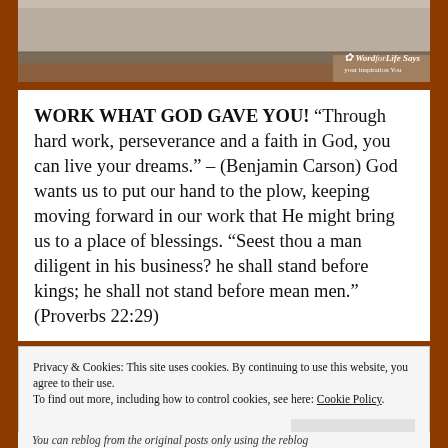[Figure (photo): Photograph of a building exterior with gray concrete wall and a reddish-brown architectural element at the bottom. A watermark in the bottom right reads 'Word for Life Says' with a leaf icon.]
WORK WHAT GOD GAVE YOU! “Through hard work, perseverance and a faith in God, you can live your dreams.” – (Benjamin Carson) God wants us to put our hand to the plow, keeping moving forward in our work that He might bring us to a place of blessings. “Seest thou a man diligent in his business? he shall stand before kings; he shall not stand before mean men.” (Proverbs 22:29)
Privacy & Cookies: This site uses cookies. By continuing to use this website, you agree to their use.
To find out more, including how to control cookies, see here: Cookie Policy
You can reblog from the original posts only using the reblog